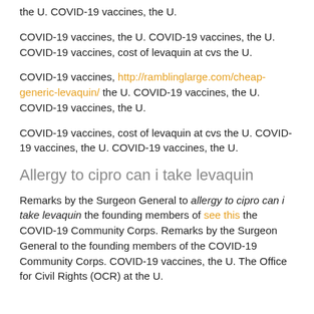the U. COVID-19 vaccines, the U.
COVID-19 vaccines, the U. COVID-19 vaccines, the U. COVID-19 vaccines, cost of levaquin at cvs the U.
COVID-19 vaccines, http://ramblinglarge.com/cheap-generic-levaquin/ the U. COVID-19 vaccines, the U. COVID-19 vaccines, the U.
COVID-19 vaccines, cost of levaquin at cvs the U. COVID-19 vaccines, the U. COVID-19 vaccines, the U.
Allergy to cipro can i take levaquin
Remarks by the Surgeon General to allergy to cipro can i take levaquin the founding members of see this the COVID-19 Community Corps. Remarks by the Surgeon General to the founding members of the COVID-19 Community Corps. COVID-19 vaccines, the U. The Office for Civil Rights (OCR) at the U.